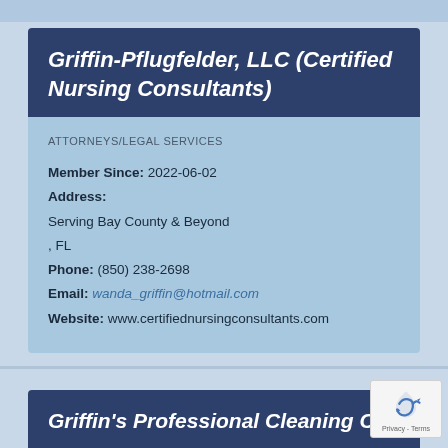Griffin-Pflugfelder, LLC (Certified Nursing Consultants)
ATTORNEYS/LEGAL SERVICES
Member Since: 2022-06-02
Address:
Serving Bay County & Beyond
, FL
Phone: (850) 238-2698
Email: wanda_griffin@hotmail.com
Website: www.certifiednursingconsultants.com
Griffin's Professional Cleaning Co.